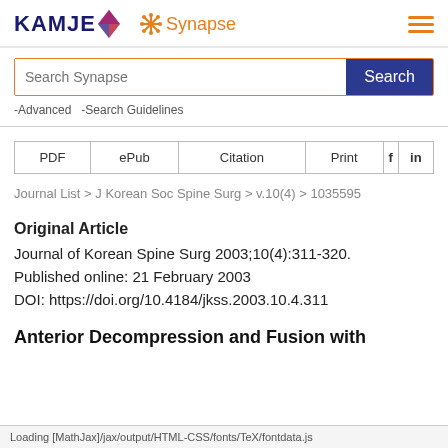KAMJE Synapse
Search Synapse
-Advanced  -Search Guidelines
| PDF | ePub | Citation | Print | f | in |
| --- | --- | --- | --- | --- | --- |
Journal List > J Korean Soc Spine Surg > v.10(4) > 1035595
Original Article
Journal of Korean Spine Surg 2003;10(4):311-320.
Published online: 21 February 2003
DOI: https://doi.org/10.4184/jkss.2003.10.4.311
Anterior Decompression and Fusion with
Loading [MathJax]/jax/output/HTML-CSS/fonts/TeX/fontdata.js